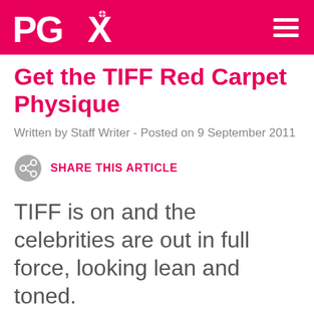PGX
Get the TIFF Red Carpet Physique
Written by Staff Writer - Posted on 9 September 2011
SHARE THIS ARTICLE
TIFF is on and the celebrities are out in full force, looking lean and toned.